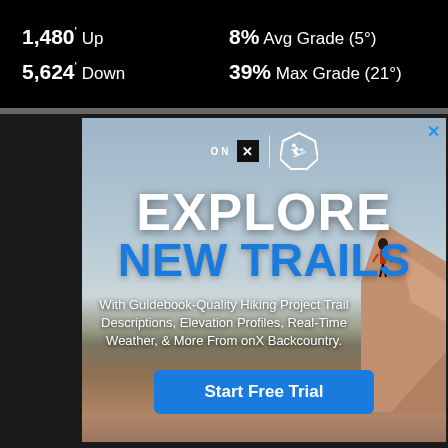1,480' Up   8% Avg Grade (5°)
5,624' Down   39% Max Grade (21°)
[Figure (photo): Advertisement for onX Backcountry app showing a hiker standing on a red rock cliff edge with canyon landscape. Text reads EXPLORE NEW TRAILS with tagline about Guidebook-Quality Hiking. Includes a Start Free Trial button.]